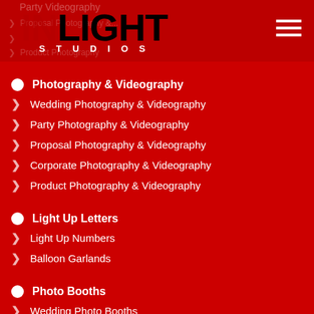[Figure (logo): INLIGHT STUDIOS logo on red background with hamburger menu icon]
Photography & Videography
Wedding Photography & Videography
Party Photography & Videography
Proposal Photography & Videography
Corporate Photography & Videography
Product Photography & Videography
Light Up Letters
Light Up Numbers
Balloon Garlands
Photo Booths
Wedding Photo Booths
Party Photo Booths